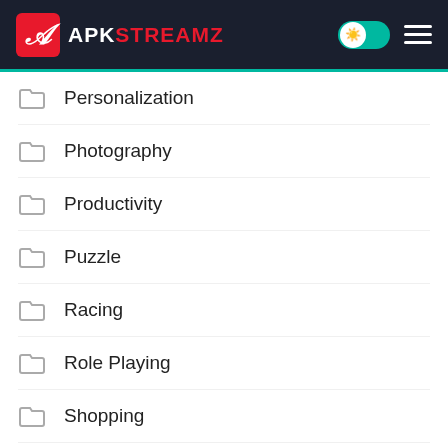APKStreamz
Personalization
Photography
Productivity
Puzzle
Racing
Role Playing
Shopping
Simulation
Social
Sport